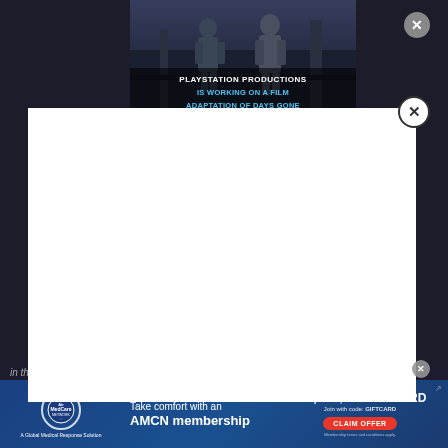[Figure (screenshot): Video thumbnail showing two characters from Days Gone game with text overlay: 'PLAYSTATION PRODUCTIONS IS WORKING ON A FILM ADAPTATION OF DAYS GONE']
[Figure (screenshot): White modal/popup overlay covering most of the screen content, with a circular X close button at top right]
in the film is being able to Spider-Man with names shining out of
[Figure (screenshot): AirMedCare Network advertisement banner: 'Take comfort with an AMCN membership' with 'Get up to a $50 GIFT CARD - Join with code: GIFTCARD' and a red CLAIM OFFER button. Membership terms and conditions apply.]